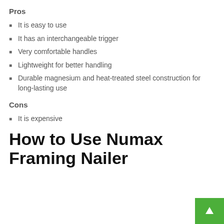Pros
It is easy to use
It has an interchangeable trigger
Very comfortable handles
Lightweight for better handling
Durable magnesium and heat-treated steel construction for long-lasting use
Cons
It is expensive
How to Use Numax Framing Nailer